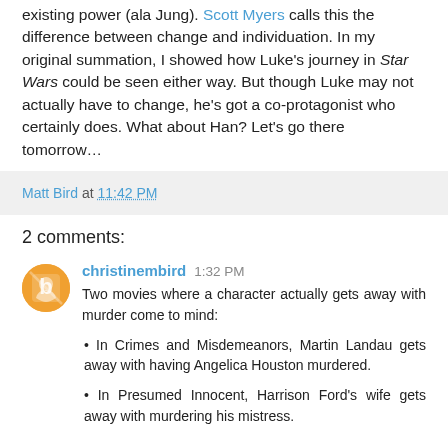existing power (ala Jung). Scott Myers calls this the difference between change and individuation. In my original summation, I showed how Luke's journey in Star Wars could be seen either way. But though Luke may not actually have to change, he's got a co-protagonist who certainly does. What about Han? Let's go there tomorrow…
Matt Bird at 11:42 PM
2 comments:
christinembird 1:32 PM
Two movies where a character actually gets away with murder come to mind:
• In Crimes and Misdemeanors, Martin Landau gets away with having Angelica Houston murdered.
• In Presumed Innocent, Harrison Ford's wife gets away with murdering his mistress.